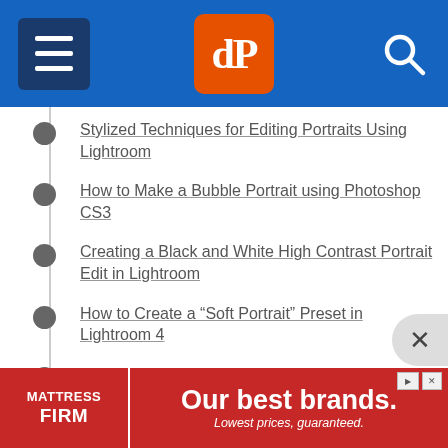[Figure (screenshot): Website header with blue background, hamburger menu icon on left, dPS orange logo in center, search icon on right]
Stylized Techniques for Editing Portraits Using Lightroom
How to Make a Bubble Portrait using Photoshop CS3
Creating a Black and White High Contrast Portrait Edit in Lightroom
How to Create a “Soft Portrait” Preset in Lightroom 4
Basic Photoshop Tutorial – How to Add Creative Overlays to Your Portraits
Getting started
[Figure (infographic): Mattress Firm advertisement banner: red background, logo on left, 'Our best brands. Lowest prices, guaranteed.' on right]